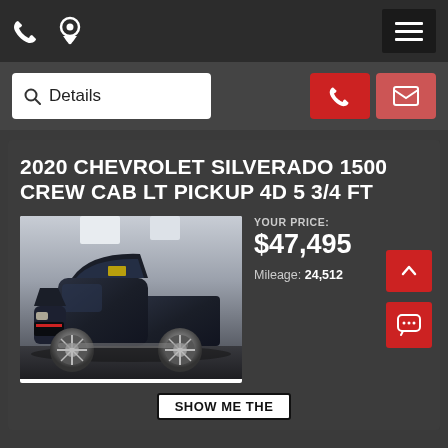Phone and location icons, menu button
Details
2020 CHEVROLET SILVERADO 1500 CREW CAB LT PICKUP 4D 5 3/4 FT
[Figure (photo): Black 2020 Chevrolet Silverado 1500 crew cab pickup truck with large chrome wheels, parked in a showroom]
YOUR PRICE:
$47,495
Mileage: 24,512
SHOW ME THE